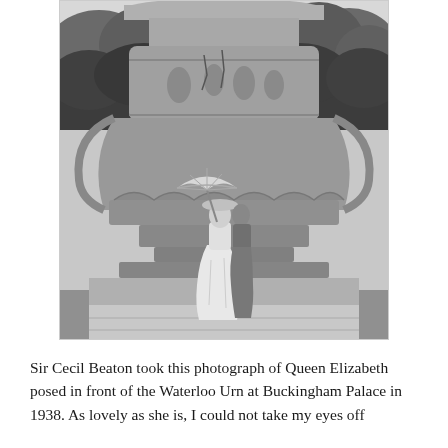[Figure (photo): Black and white photograph of Queen Elizabeth posing in front of the Waterloo Urn at Buckingham Palace in 1938. She holds a parasol and wears a long white dress. The large ornate stone urn dominates the background, with trees visible behind it.]
Sir Cecil Beaton took this photograph of Queen Elizabeth posed in front of the Waterloo Urn at Buckingham Palace in 1938. As lovely as she is, I could not take my eyes off